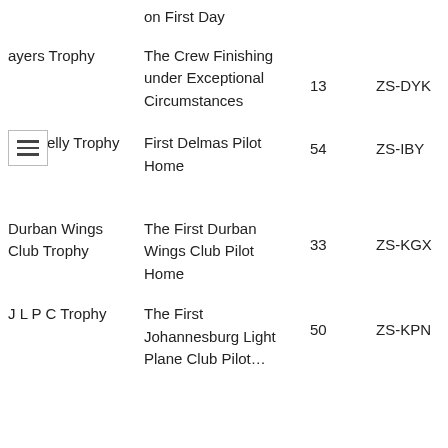| Trophy | Description | No. | Aircraft | Winner |
| --- | --- | --- | --- | --- |
| […]ayers Trophy | on First Day / The Crew Finishing under Exceptional Circumstances | 13 | ZS-DYK | P M… |
| D P Kelly Trophy | First Delmas Pilot Home | 54 | ZS-IBY | P G… B… |
| Durban Wings Club Trophy | The First Durban Wings Club Pilot Home | 33 | ZS-KGX | V… R… B… |
| J L P C Trophy | The First Johannesburg Light Plane Club Pilot… | 50 | ZS-KPN | D… M… |